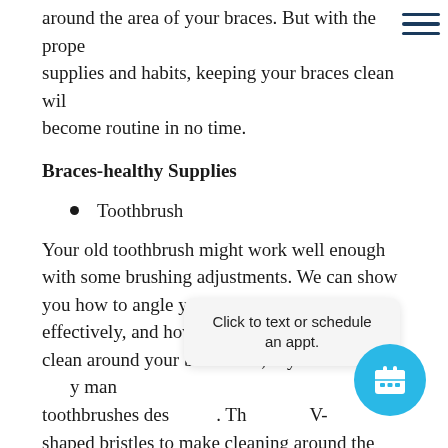around the area of your braces. But with the proper supplies and habits, keeping your braces clean will become routine in no time.
Braces-healthy Supplies
Toothbrush
Your old toothbrush might work well enough with some brushing adjustments. We can show you how to angle your brush so it works most effectively, and how to make sure the bristles clean around your braces. Or, if you li... y man toothbrushes des... Th... V-shaped bristles to make cleaning around the brackets easier. Some people find an electric toothbrush